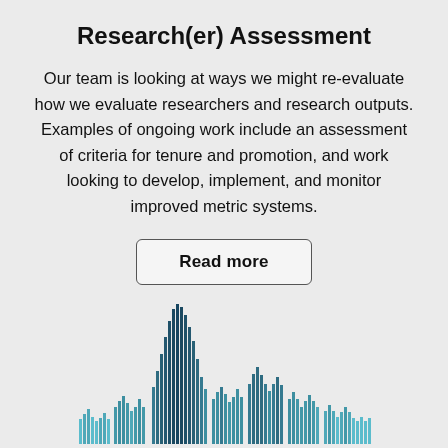Research(er) Assessment
Our team is looking at ways we might re-evaluate how we evaluate researchers and research outputs. Examples of ongoing work include an assessment of criteria for tenure and promotion, and work looking to develop, implement, and monitor improved metric systems.
[Figure (other): Read more button with rounded rectangle border]
[Figure (bar-chart): A stylized bar chart illustration showing multiple vertical bars of varying heights in teal/dark blue colors, resembling a histogram or waveform visualization representing research metrics data.]